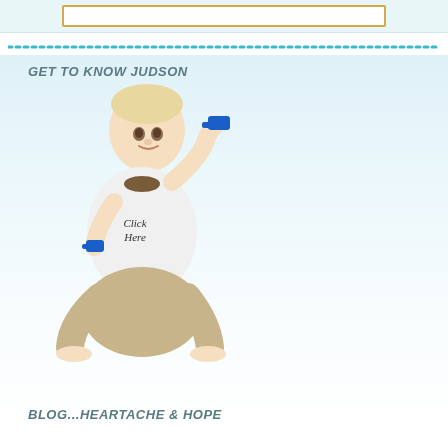[Figure (other): Top navigation bar with a rectangular outlined box, light blue background]
GET TO KNOW JUDSON
[Figure (photo): Young blonde toddler boy sitting cross-legged, wearing white long-sleeve shirt and khaki pants, holding blue toy vehicles in both hands, smiling. Text 'Click Here' overlaid on shirt.]
BLOG...HEARTACHE & HOPE